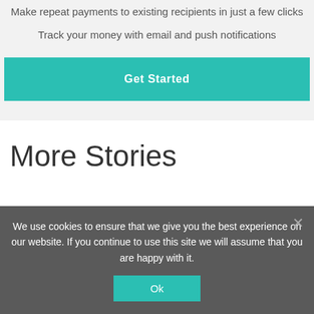Make repeat payments to existing recipients in just a few clicks
Track your money with email and push notifications
Get Started
More Stories
We use cookies to ensure that we give you the best experience on our website. If you continue to use this site we will assume that you are happy with it.
Ok